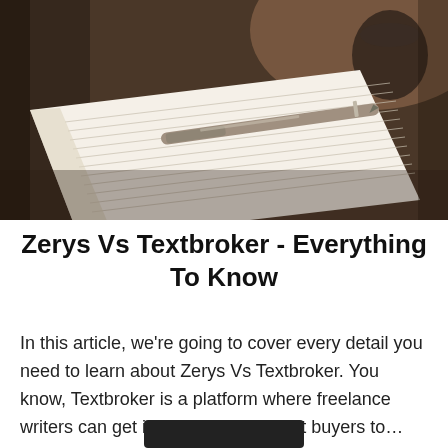[Figure (photo): Close-up photo of an open lined notebook with a silver pen resting on it, on a dark wooden surface with a blurred coffee cup in the background. Warm brown tones with shallow depth of field.]
Zerys Vs Textbroker - Everything To Know
In this article, we're going to cover every detail you need to learn about Zerys Vs Textbroker. You know, Textbroker is a platform where freelance writers can get in touch with content buyers to...